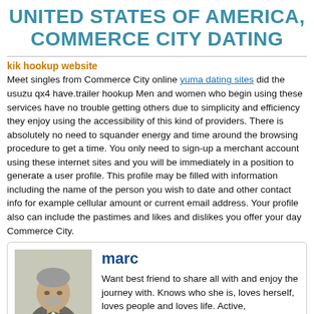UNITED STATES OF AMERICA, COMMERCE CITY DATING
kik hookup website
Meet singles from Commerce City online yuma dating sites did the usuzu qx4 have.trailer hookup Men and women who begin using these services have no trouble getting others due to simplicity and efficiency they enjoy using the accessibility of this kind of providers. There is absolutely no need to squander energy and time around the browsing procedure to get a time. You only need to sign-up a merchant account using these internet sites and you will be immediately in a position to generate a user profile. This profile may be filled with information including the name of the person you wish to date and other contact info for example cellular amount or current email address. Your profile also can include the pastimes and likes and dislikes you offer your day Commerce City.
[Figure (photo): Profile photo of marc, an older man in a grey suit jacket]
marc
Want best friend to share all with and enjoy the journey with. Knows who she is, loves herself, loves people and loves life. Active, spontaneous, zest for life, travel, but also like intimate time for…
Age: 72 y/o | Job: Executive (business man)